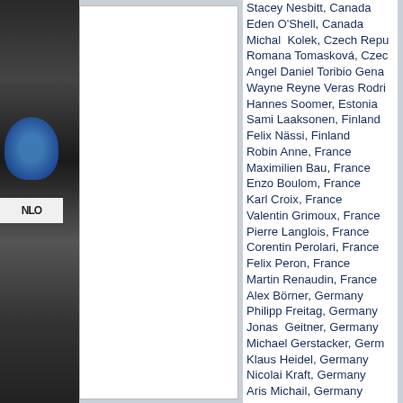[Figure (photo): Left side photo of racing/motorsport gear, dark background with blue logo and Dunlop branding visible]
Stacey Nesbitt, Canada
Eden O'Shell, Canada
Michal  Kolek, Czech Republic
Romana Tomasková, Czech (truncated)
Angel Daniel Toribio Genao (truncated)
Wayne Reyne Veras Rodri (truncated)
Hannes Soomer, Estonia
Sami Laaksonen, Finland
Felix Nässi, Finland
Robin Anne, France
Maximilien Bau, France
Enzo Boulom, France
Karl Croix, France
Valentin Grimoux, France
Pierre Langlois, France
Corentin Perolari, France
Felix Peron, France
Martin Renaudin, France
Alex Börner, Germany
Philipp Freitag, Germany
Jonas  Geitner, Germany
Michael Gerstacker, Germany (truncated)
Klaus Heidel, Germany
Nicolai Kraft, Germany
Aris Michail, Germany